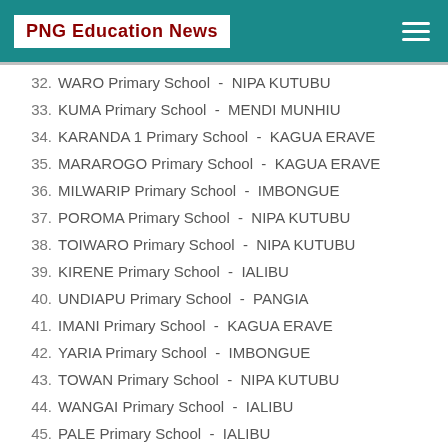PNG Education News
32.  WARO Primary School  -  NIPA KUTUBU
33.  KUMA Primary School  -  MENDI MUNHIU
34.  KARANDA 1 Primary School  -  KAGUA ERAVE
35.  MARAROGO Primary School  -  KAGUA ERAVE
36.  MILWARIP Primary School  -  IMBONGUE
37.  POROMA Primary School  -  NIPA KUTUBU
38.  TOIWARO Primary School  -  NIPA KUTUBU
39.  KIRENE Primary School  -  IALIBU
40.  UNDIAPU Primary School  -  PANGIA
41.  IMANI Primary School  -  KAGUA ERAVE
42.  YARIA Primary School  -  IMBONGUE
43.  TOWAN Primary School  -  NIPA KUTUBU
44.  WANGAI Primary School  -  IALIBU
45.  PALE Primary School  -  IALIBU
46.  PUPUTAU Primary School  -  KAGUA ERAVE